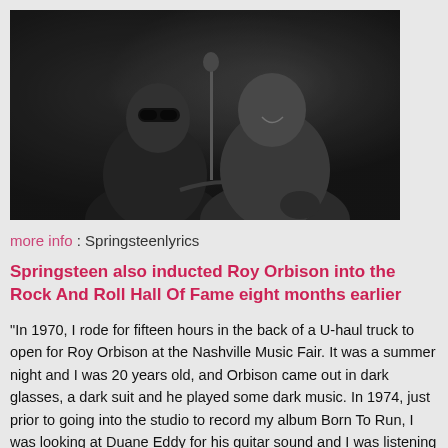[Figure (photo): Black and white photograph of two men performing on stage with guitars and microphone, smiling]
more info : Springsteenlyrics
Springsteen also inducted Roy Orbison into the Rock And Roll Hall Of Fame eight months earlier
"In 1970, I rode for fifteen hours in the back of a U-haul truck to open for Roy Orbison at the Nashville Music Fair. It was a summer night and I was 20 years old, and Orbison came out in dark glasses, a dark suit and he played some dark music. In 1974, just prior to going into the studio to record my album Born To Run, I was looking at Duane Eddy for his guitar sound and I was listening to a collection of Phil Spector's records and Orbison's All-Time Greatest Hits. I'd lay in bed at night with just the lights of my stereo